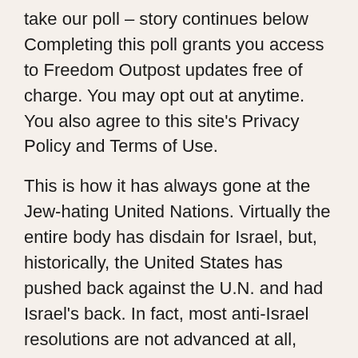take our poll – story continues below Completing this poll grants you access to Freedom Outpost updates free of charge. You may opt out at anytime. You also agree to this site's Privacy Policy and Terms of Use.
This is how it has always gone at the Jew-hating United Nations. Virtually the entire body has disdain for Israel, but, historically, the United States has pushed back against the U.N. and had Israel's back. In fact, most anti-Israel resolutions are not advanced at all, because they know the United States will just veto them.
The only reason this one got through was that the Obama administration indicated that America would not vote, clearing the path for the other 14 Jew-hating nations on the Security Council. Security Council – what a joke. And as if that isn't bad enough, Ben Shapiro reports that it is actually much worse.